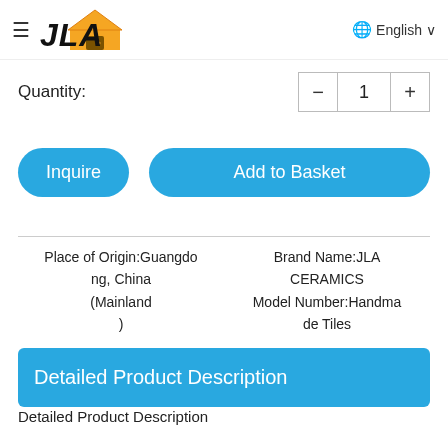≡ JLA [logo] English ∨
Quantity:
1
Inquire
Add to Basket
Place of Origin:Guangdong, China (Mainland)
Brand Name:JLA CERAMICS
Model Number:Handmade Tiles
Detailed Product Description
Detailed Product Description
|  | 100x300 |  |  |
| --- | --- | --- | --- |